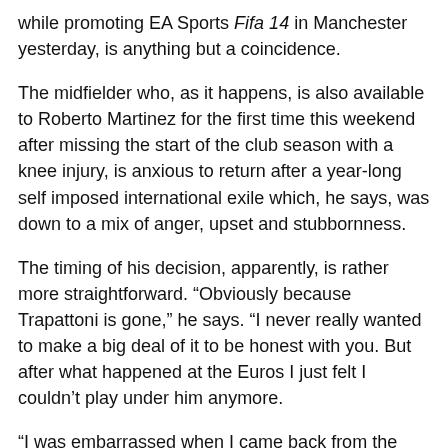while promoting EA Sports Fifa 14 in Manchester yesterday, is anything but a coincidence.
The midfielder who, as it happens, is also available to Roberto Martinez for the first time this weekend after missing the start of the club season with a knee injury, is anxious to return after a year-long self imposed international exile which, he says, was down to a mix of anger, upset and stubbornness.
The timing of his decision, apparently, is rather more straightforward. “Obviously because Trapattoni is gone,” he says. “I never really wanted to make a big deal of it to be honest with you. But after what happened at the Euros I just felt I couldn’t play under him anymore.
“I was embarrassed when I came back from the Euros (after) not winning a game and not getting on the pitch,” continues the former Manchester United star, now aged 5...